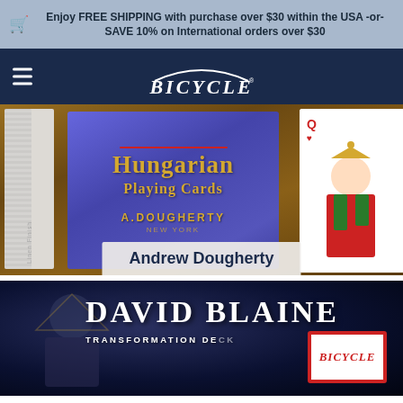Enjoy FREE SHIPPING with purchase over $30 within the USA -or- SAVE 10% on International orders over $30
[Figure (screenshot): Bicycle playing cards website navigation bar with logo]
[Figure (photo): Hungarian Playing Cards box by A. Dougherty, blue box with gold lettering on wood background with playing card visible on right]
Andrew Dougherty
[Figure (photo): David Blaine Transformation Deck playing cards with Bicycle logo card visible]